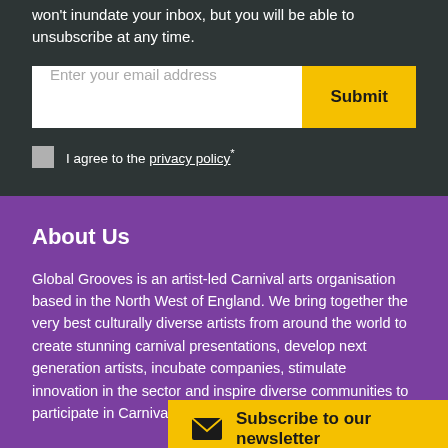won't inundate your inbox, but you will be able to unsubscribe at any time.
[Figure (screenshot): Email input field with placeholder 'Enter your email address' and a yellow Submit button]
I agree to the privacy policy*
About Us
Global Grooves is an artist-led Carnival arts organisation based in the North West of England. We bring together the very best culturally diverse artists from around the world to create stunning carnival presentations, develop next generation artists, incubate companies, stimulate innovation in the sector and inspire diverse communities to participate in Carnival, both across UK and internationally.
Global Gr... registered...
Subscribe to our newsletter